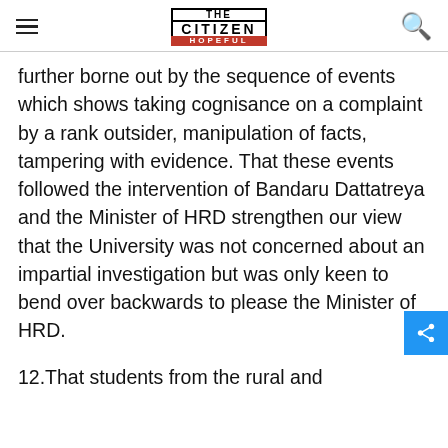THE CITIZEN IS HOPEFUL
further borne out by the sequence of events which shows taking cognisance on a complaint by a rank outsider, manipulation of facts, tampering with evidence. That these events followed the intervention of Bandaru Dattatreya and the Minister of HRD strengthen our view that the University was not concerned about an impartial investigation but was only keen to bend over backwards to please the Minister of HRD.
12.That students from the rural and